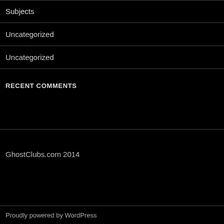Subjects
Uncategorized
Uncategorized
RECENT COMMENTS
GhostClubs.com 2014
Proudly powered by WordPress